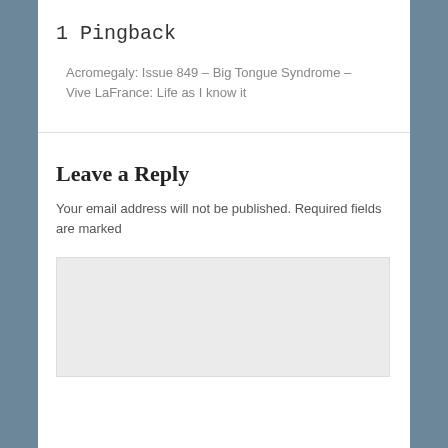1 Pingback
Acromegaly: Issue 849 – Big Tongue Syndrome – Vive LaFrance: Life as I know it
Leave a Reply
Your email address will not be published. Required fields are marked